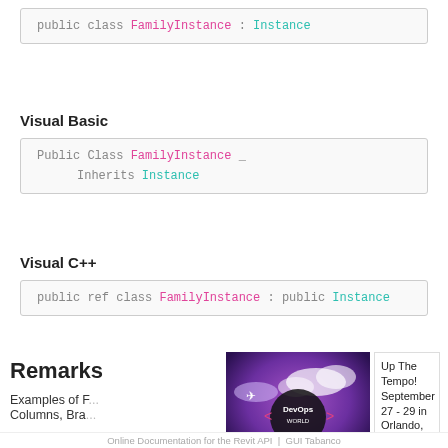[Figure (screenshot): Code box showing C# syntax: public class FamilyInstance : Instance]
Visual Basic
[Figure (screenshot): Code box showing Visual Basic syntax: Public Class FamilyInstance _ Inherits Instance]
Visual C++
[Figure (screenshot): Code box showing Visual C++ syntax: public ref class FamilyInstance : public Instance]
Remarks
Examples of F... Columns, Bra...
[Figure (photo): DevOps World advertisement banner with purple background]
Up The Tempo! September 27 - 29 in Orlando, FL. Register now!
Online Documentation for the Revit API  |  GUI Tabanco